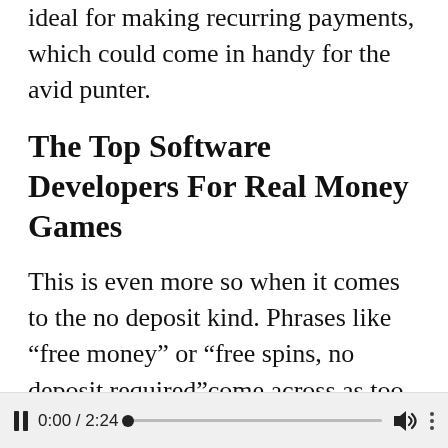ideal for making recurring payments, which could come in handy for the avid punter.
The Top Software Developers For Real Money Games
This is even more so when it comes to the no deposit kind. Phrases like “free money” or “free spins, no deposit required”come across as too good to be true. Unfortunately, in some cases, they are; especially when you start to read the conditions. Here’s our take on some of the key terms to look out for